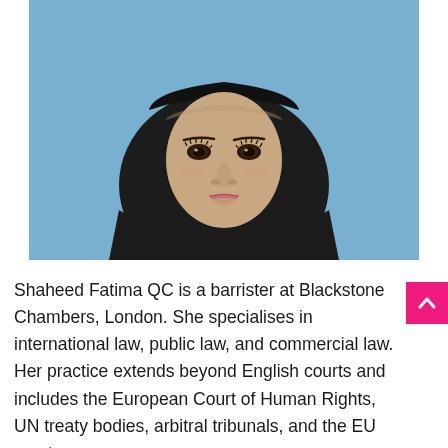[Figure (photo): Portrait photograph of a young woman wearing a black hijab against a light blue background, facing the camera directly.]
Shaheed Fatima QC is a barrister at Blackstone Chambers, London. She specialises in international law, public law, and commercial law. Her practice extends beyond English courts and includes the European Court of Human Rights, UN treaty bodies, arbitral tribunals, and the EU courts.